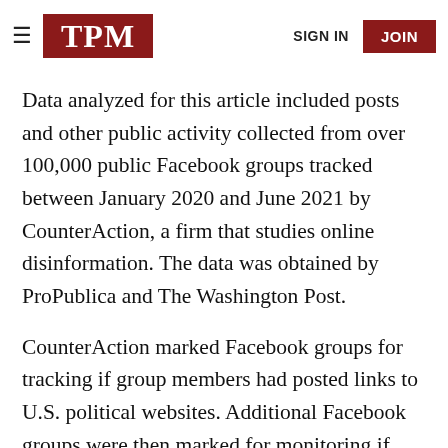TPM | SIGN IN | JOIN
Data analyzed for this article included posts and other public activity collected from over 100,000 public Facebook groups tracked between January 2020 and June 2021 by CounterAction, a firm that studies online disinformation. The data was obtained by ProPublica and The Washington Post.
CounterAction marked Facebook groups for tracking if group members had posted links to U.S. political websites. Additional Facebook groups were then marked for monitoring if they had any members in common with groups already under observation. This process was repeated over the